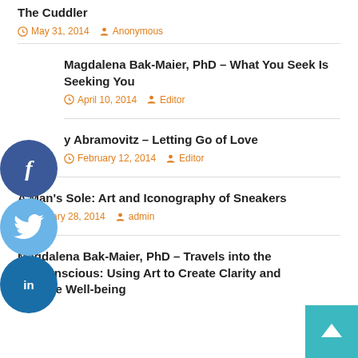The Cuddler
May 31, 2014   Anonymous
Magdalena Bak-Maier, PhD – What You Seek Is Seeking You
April 10, 2014   Editor
y Abramovitz – Letting Go of Love
February 12, 2014   Editor
A Man's Sole: Art and Iconography of Sneakers
January 28, 2014   admin
Magdalena Bak-Maier, PhD – Travels into the Subconscious: Using Art to Create Clarity and Restore Well-being